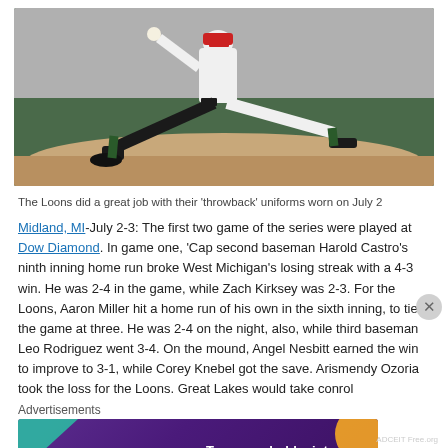[Figure (photo): Baseball pitcher in white uniform with dark socks mid-pitch on a dirt mound, taken at Dow Diamond. The player is fully extended in pitching motion.]
The Loons did a great job with their 'throwback' uniforms worn on July 2
Midland, MI-July 2-3: The first two game of the series were played at Dow Diamond. In game one, 'Cap second baseman Harold Castro's ninth inning home run broke West Michigan's losing streak with a 4-3 win. He was 2-4 in the game, while Zach Kirksey was 2-3. For the Loons, Aaron Miller hit a home run of his own in the sixth inning, to tie the game at three. He was 2-4 on the night, also, while third baseman Leo Rodriguez went 3-4. On the mound, Angel Nesbitt earned the win to improve to 3-1, while Corey Knebel got the save. Arismendy Ozoria took the loss for the Loons. Great Lakes would take conrol
Advertisements
[Figure (other): WooCommerce advertisement banner: purple gradient background with teal and orange geometric shapes. WooCommerce logo on left, text 'Turn your hobby into a business in 8 steps' on right.]